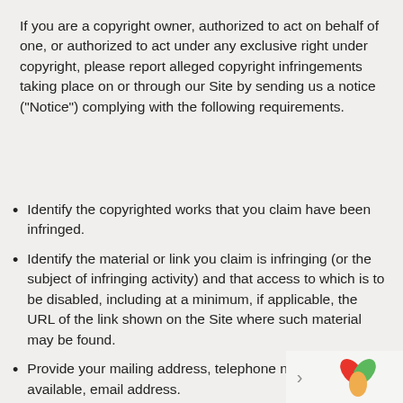If you are a copyright owner, authorized to act on behalf of one, or authorized to act under any exclusive right under copyright, please report alleged copyright infringements taking place on or through our Site by sending us a notice ("Notice") complying with the following requirements.
Identify the copyrighted works that you claim have been infringed.
Identify the material or link you claim is infringing (or the subject of infringing activity) and that access to which is to be disabled, including at a minimum, if applicable, the URL of the link shown on the Site where such material may be found.
Provide your mailing address, telephone number, and, if available, email address.
Include both of the following statements in the body of the Notice: “I hereby state that I have a good faith the disputed use of the copyrighted material is